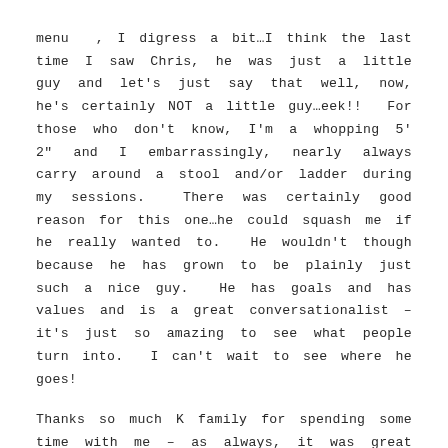menu , I digress a bit...I think the last time I saw Chris, he was just a little guy and let's just say that well, now, he's certainly NOT a little guy...eek!!  For those who don't know, I'm a whopping 5' 2" and I embarrassingly, nearly always carry around a stool and/or ladder during my sessions.  There was certainly good reason for this one...he could squash me if he really wanted to.  He wouldn't though because he has grown to be plainly just such a nice guy.  He has goals and has values and is a great conversationalist – it's just so amazing to see what people turn into.  I can't wait to see where he goes!
Thanks so much K family for spending some time with me – as always, it was great seeing you...can't wait to show you the rest of your images!